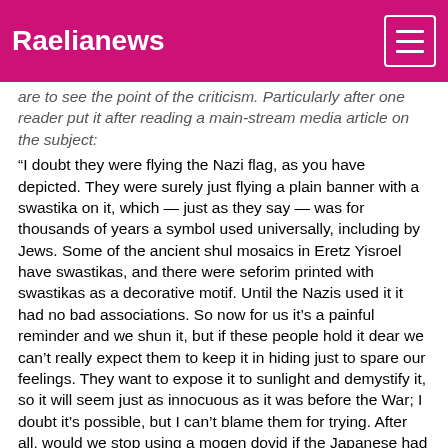Raelianews
are to see the point of the criticism. Particularly after one reader put it after reading a main-stream media article on the subject:
“I doubt they were flying the Nazi flag, as you have depicted. They were surely just flying a plain banner with a swastika on it, which — just as they say — was for thousands of years a symbol used universally, including by Jews. Some of the ancient shul mosaics in Eretz Yisroel have swastikas, and there were seforim printed with swastikas as a decorative motif. Until the Nazis used it it had no bad associations. So now for us it’s a painful reminder and we shun it, but if these people hold it dear we can’t really expect them to keep it in hiding just to spare our feelings. They want to expose it to sunlight and demystify it, so it will seem just as innocuous as it was before the War; I doubt it’s possible, but I can’t blame them for trying. After all, would we stop using a mogen dovid if the Japanese had used it as their symbol instead of the rising sun? ”
“Excellent question, would the Jewish community accept that their symbol be banned if another group had highjacked it?” asked Kaenzig. “What would the Jewish community do if the Palestinians in the name of those who are killed today one day ask the